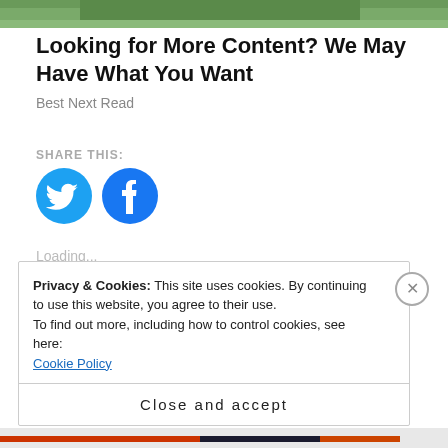[Figure (photo): Partial cropped photo at top of page, appears to show an outdoor scene with greenery]
Looking for More Content? We May Have What You Want
Best Next Read
SHARE THIS:
[Figure (infographic): Two circular social media share buttons: Twitter (bird icon, blue) and Facebook (f icon, blue)]
Loading...
Privacy & Cookies: This site uses cookies. By continuing to use this website, you agree to their use.
To find out more, including how to control cookies, see here: Cookie Policy
Close and accept